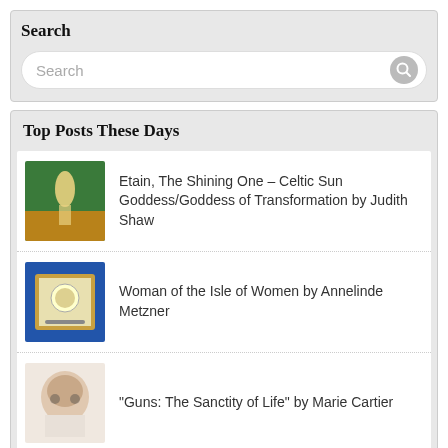Search
[Figure (screenshot): Search input bar with placeholder text 'Search' and a circular search icon button]
Top Posts These Days
Etain, The Shining One – Celtic Sun Goddess/Goddess of Transformation by Judith Shaw
Woman of the Isle of Women by Annelinde Metzner
“Guns: The Sanctity of Life” by Marie Cartier
The “Curse of Eve”—Is Pain Our Punishment? Part I
Elen of the Ways by Judith Shaw